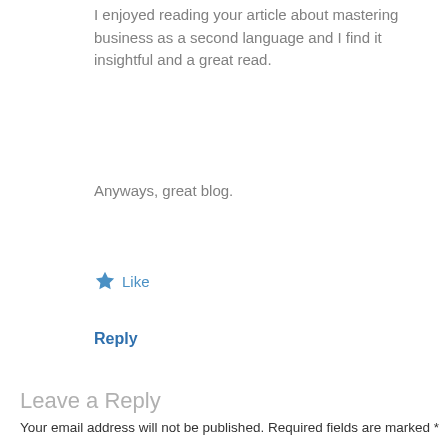I enjoyed reading your article about mastering business as a second language and I find it insightful and a great read.
Anyways, great blog.
★ Like
Reply
Leave a Reply
Your email address will not be published. Required fields are marked *
Comment *